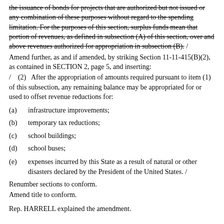the issuance of bonds for projects that are authorized but not issued or any combination of these purposes without regard to the spending limitation. For the purposes of this section, surplus funds mean that portion of revenues, as defined in subsection (A) of this section, over and above revenues authorized for appropriation in subsection (B). /
Amend further, as and if amended, by striking Section 11-11-415(B)(2), as contained in SECTION 2, page 5, and inserting:
/   (2)   After the appropriation of amounts required pursuant to item (1) of this subsection, any remaining balance may be appropriated for or used to offset revenue reductions for:
(a)   infrastructure improvements;
(b)   temporary tax reductions;
(c)   school buildings;
(d)   school buses;
(e)   expenses incurred by this State as a result of natural or other disasters declared by the President of the United States. /
Renumber sections to conform.
Amend title to conform.
Rep. HARRELL explained the amendment.